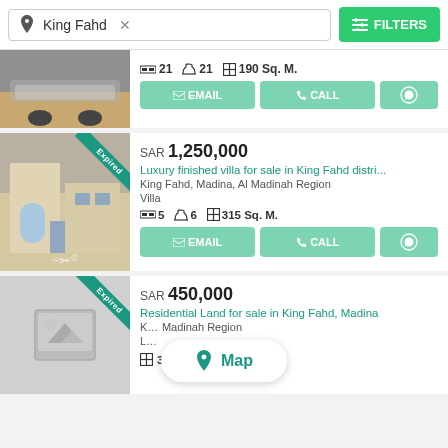King Fahd × FILTERS
21 beds  21 baths  190 Sq. M.
EMAIL  CALL  WhatsApp
SAR 1,250,000
Luxury finished villa for sale in King Fahd distri...
King Fahd, Madina, Al Madinah Region
Villa
5 beds  6 baths  315 Sq. M.
EMAIL  CALL  WhatsApp
SAR 450,000
Residential Land for sale in King Fahd, Madina
K... Madinah Region
L...
312 Sq. M.
Map